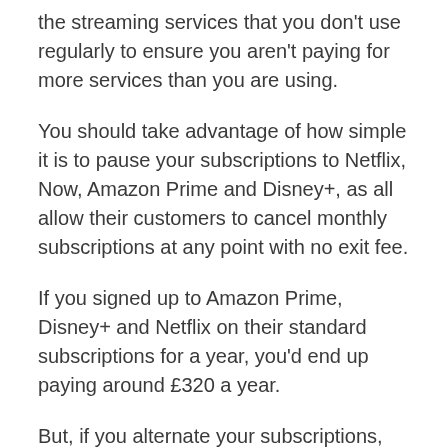the streaming services that you don't use regularly to ensure you aren't paying for more services than you are using.
You should take advantage of how simple it is to pause your subscriptions to Netflix, Now, Amazon Prime and Disney+, as all allow their customers to cancel monthly subscriptions at any point with no exit fee.
If you signed up to Amazon Prime, Disney+ and Netflix on their standard subscriptions for a year, you'd end up paying around £320 a year.
But, if you alternate your subscriptions, with four month subscription of each, you would only need to pay £108 per year.  It could be worth